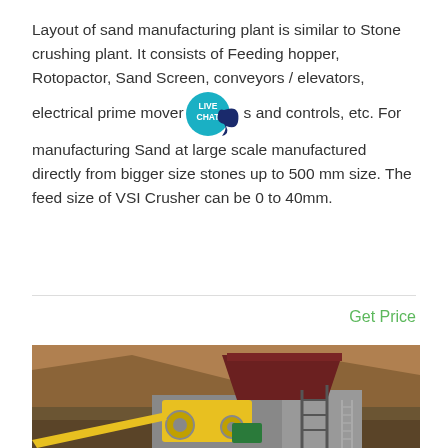Layout of sand manufacturing plant is similar to Stone crushing plant. It consists of Feeding hopper, Rotopactor, Sand Screen, conveyors / elevators, electrical prime movers and controls, etc. For manufacturing Sand at large scale manufactured directly from bigger size stones up to 500 mm size. The feed size of VSI Crusher can be 0 to 40mm.
Get Price
[Figure (photo): Photograph of a stone crushing / sand manufacturing plant showing yellow machinery, conveyor belts, a dark red hopper, scaffolding, and a rocky hillside in the background.]